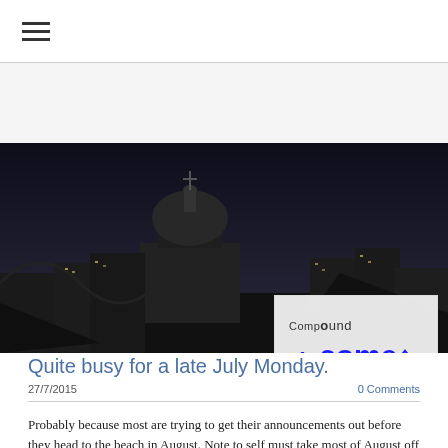☰ (hamburger menu)
[Figure (logo): Compound Income logo with upward arrow, overlaid on a dark nighttime cityscape photo featuring a domed building (St. Paul's Cathedral area). Logo box reads 'Compound' on top and 'Income↑' in blue below.]
Quite busy for a late July Monday.
27/7/2015	0 Comments
Probably because most are trying to get their announcements out before they head to the beach in August. Note to self must take most of August off